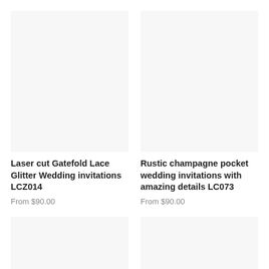[Figure (photo): Product image placeholder for Laser cut Gatefold Lace Glitter Wedding invitations LCZ014 - light grey/white background]
[Figure (photo): Product image placeholder for Rustic champagne pocket wedding invitations with amazing details LC073 - light grey/white background]
Laser cut Gatefold Lace Glitter Wedding invitations LCZ014
From $90.00
Rustic champagne pocket wedding invitations with amazing details LC073
From $90.00
[Figure (photo): Product image placeholder - bottom left card, light grey/white background]
[Figure (photo): Product image placeholder - bottom right card, light grey/white background]